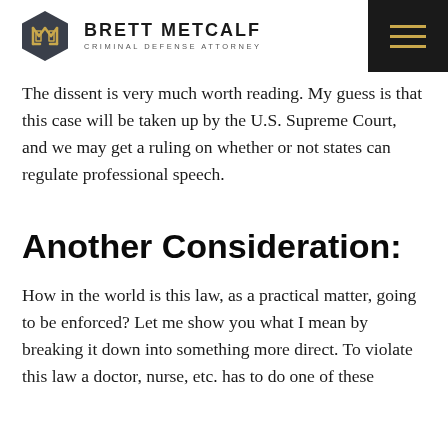BRETT METCALF — CRIMINAL DEFENSE ATTORNEY
The dissent is very much worth reading. My guess is that this case will be taken up by the U.S. Supreme Court, and we may get a ruling on whether or not states can regulate professional speech.
Another Consideration:
How in the world is this law, as a practical matter, going to be enforced? Let me show you what I mean by breaking it down into something more direct. To violate this law a doctor, nurse, etc. has to do one of these